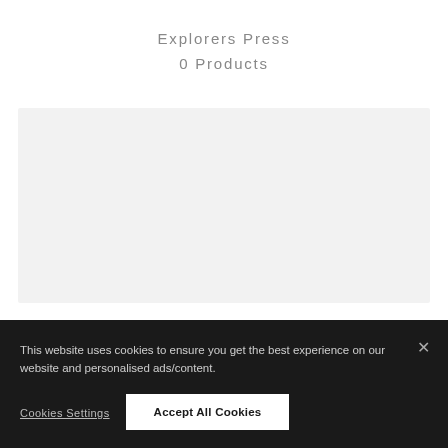Explorers Press
0 Products
[Figure (other): Gray empty content area placeholder box]
This website uses cookies to ensure you get the best experience on our website and personalised ads/content.
Cookies Settings
Accept All Cookies